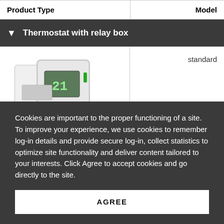| Product Type | Model |
| --- | --- |
| [Thermostat with relay box section] |  |
| DT92A1004 [image] | standard |
Cookies are important to the proper functioning of a site. To improve your experience, we use cookies to remember log-in details and provide secure log-in, collect statistics to optimize site functionality and deliver content tailored to your interests. Click Agree to accept cookies and go directly to the site.
AGREE